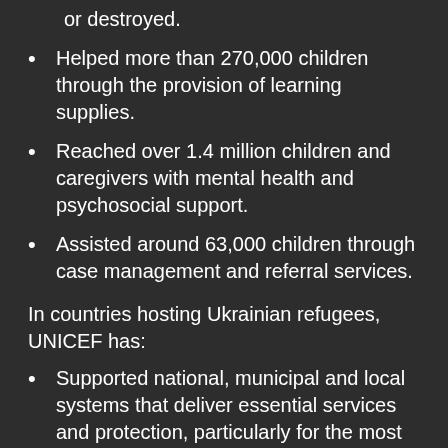or destroyed.
Helped more than 270,000 children through the provision of learning supplies.
Reached over 1.4 million children and caregivers with mental health and psychosocial support.
Assisted around 63,000 children through case management and referral services.
In countries hosting Ukrainian refugees, UNICEF has:
Supported national, municipal and local systems that deliver essential services and protection, particularly for the most vulnerable children, including through: anti-trafficking training for border guards; expanding learning opportunities and integrating refugee children into schools; procuring vaccines and medical supplies; and